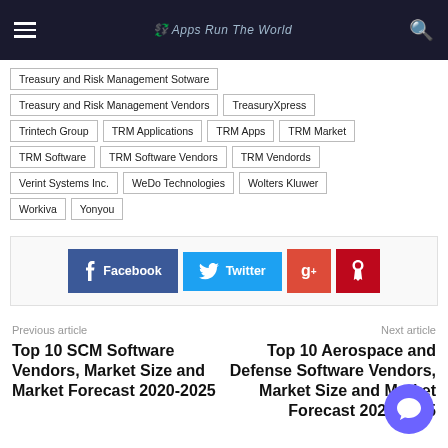Apps Run The World
Treasury and Risk Management Sotware
Treasury and Risk Management Vendors
TreasuryXpress
Trintech Group
TRM Applications
TRM Apps
TRM Market
TRM Software
TRM Software Vendors
TRM Vendords
Verint Systems Inc.
WeDo Technologies
Wolters Kluwer
Workiva
Yonyou
[Figure (infographic): Social share buttons: Facebook (blue), Twitter (light blue), Google+ (red), Pinterest (dark red)]
Previous article
Top 10 SCM Software Vendors, Market Size and Market Forecast 2020-2025
Next article
Top 10 Aerospace and Defense Software Vendors, Market Size and Market Forecast 2020-2025